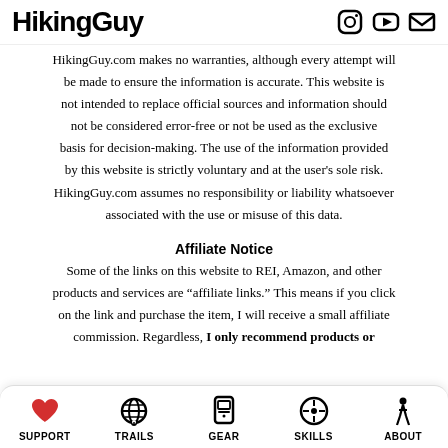HikingGuy
HikingGuy.com makes no warranties, although every attempt will be made to ensure the information is accurate. This website is not intended to replace official sources and information should not be considered error-free or not be used as the exclusive basis for decision-making. The use of the information provided by this website is strictly voluntary and at the user's sole risk. HikingGuy.com assumes no responsibility or liability whatsoever associated with the use or misuse of this data.
Affiliate Notice
Some of the links on this website to REI, Amazon, and other products and services are “affiliate links.” This means if you click on the link and purchase the item, I will receive a small affiliate commission. Regardless, I only recommend products or